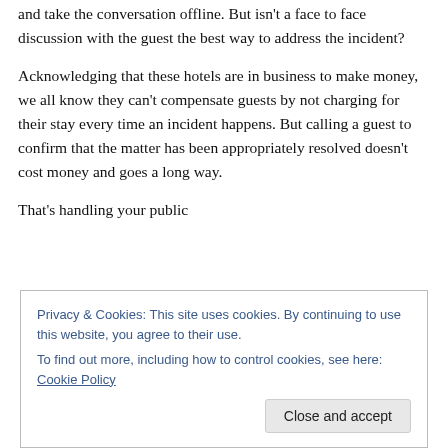and take the conversation offline. But isn't a face to face discussion with the guest the best way to address the incident?
Acknowledging that these hotels are in business to make money, we all know they can't compensate guests by not charging for their stay every time an incident happens. But calling a guest to confirm that the matter has been appropriately resolved doesn't cost money and goes a long way.
That's handling your public
Privacy & Cookies: This site uses cookies. By continuing to use this website, you agree to their use.
To find out more, including how to control cookies, see here: Cookie Policy
Close and accept